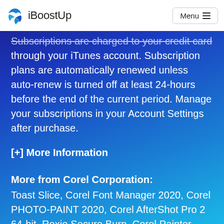iBoostUp | Menu
Subscriptions are charged to your credit card through your iTunes account. Subscription plans are automatically renewed unless auto-renew is turned off at least 24-hours before the end of the current period. Manage your subscriptions in your Account Settings after purchase.
[+] More Information
More from Corel Corporation: Toast Slice, Corel Font Manager 2020, Corel PHOTO-PAINT 2020, Corel AfterShot Pro 2 64-bit, Roxio Secure Burn, Corel Painter Lite, CorelDRAW 2021, Corel Font Manager 2019,